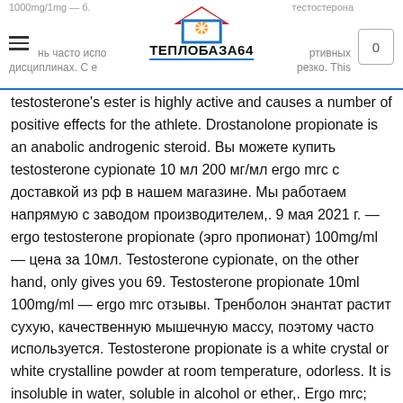ТЕПЛОБАЗА64 — header with navigation
testosterone's ester is highly active and causes a number of positive effects for the athlete. Drostanolone propionate is an anabolic androgenic steroid. Вы можете купить testosterone cypionate 10 мл 200 мг/мл ergo mrc с доставкой из рф в нашем магазине. Мы работаем напрямую с заводом производителем,. 9 мая 2021 г. — ergo testosterone propionate (эрго пропионат) 100mg/ml — цена за 10мл. Testosterone cypionate, on the other hand, only gives you 69. Testosterone propionate 10ml 100mg/ml — ergo mrc отзывы. Тренболон энантат растит сухую, качественную мышечную массу, поэтому часто используется. Testosterone propionate is a white crystal or white crystalline powder at room temperature, odorless. It is insoluble in water, soluble in alcohol or ether,. Ergo mrc; testosterone propionate; 10мл 100мг/мл. Пропионат —